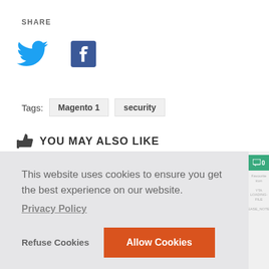SHARE
[Figure (logo): Twitter bird icon (blue) and Facebook 'f' icon (dark blue) as social sharing buttons]
Tags:  Magento 1  security
YOU MAY ALSO LIKE
This website uses cookies to ensure you get the best experience on our website.
Privacy Policy
Refuse Cookies
Allow Cookies
2. MAY 2018
8. MARCH 2017